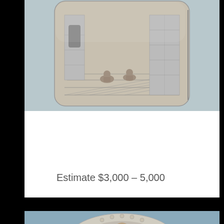[Figure (photo): A silver cigarette case or card case with engraved scene showing figures crouching near a stone wall, with a wood plank floor and stone archway in the background. The object has rounded corners and appears to be antique.]
Estimate $3,000 – 5,000
[Figure (photo): Partial view of a decorative circular object, possibly an enamel or cloisonné brooch or medallion with a central figure and ornate border featuring circular cutouts, photographed against a blue-gray background.]